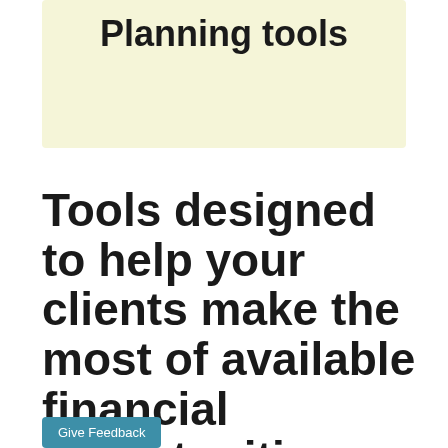Planning tools
Tools designed to help your clients make the most of available financial opportunities